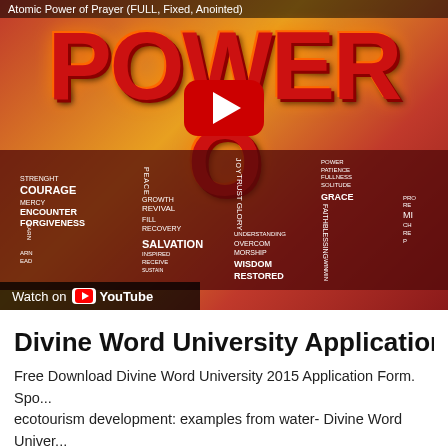[Figure (screenshot): YouTube video thumbnail for 'Atomic Power of Prayer (FULL, Fixed, Anointed)' showing large red 3D text spelling 'POWER OF PRAY' with word cloud of spiritual terms (STRENGTH, COURAGE, MERCY, ENCOUNTER, FORGIVENESS, LOVE, REVIVAL, JOY, SALVATION, INSPIRED, PEACE, GROWTH, TRUST, GLORY, UNDERSTANDING, OVERCOMING, WORSHIP, WISDOM, RESTORED, GRACE, FAITH, BLESSING), a red YouTube play button overlay, and 'Watch on YouTube' bar at bottom left.]
Divine Word University Application Form
Free Download Divine Word University 2015 Application Form. Spo... ecotourism development: examples from water- Divine Word Univer...